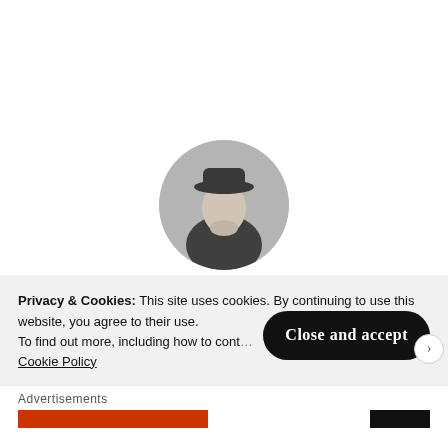[Figure (photo): Circular black and white author photo of Enrico Maini, a person wearing a hat, looking downward]
POSTED BY:
Enrico Maini
Improvised home cook, loving father, self-taught software
Privacy & Cookies: This site uses cookies. By continuing to use this website, you agree to their use.
To find out more, including how to cont… Cookie Policy
Close and accept
Advertisements